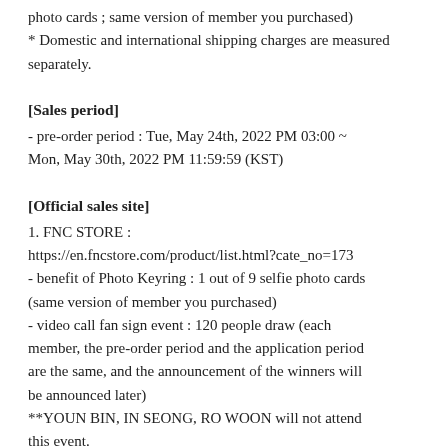photo cards ; same version of member you purchased)
* Domestic and international shipping charges are measured separately.
[Sales period]
- pre-order period : Tue, May 24th, 2022 PM 03:00 ~ Mon, May 30th, 2022 PM 11:59:59 (KST)
[Official sales site]
1. FNC STORE :
https://en.fncstore.com/product/list.html?cate_no=173
- benefit of Photo Keyring : 1 out of 9 selfie photo cards (same version of member you purchased)
- video call fan sign event : 120 people draw (each member, the pre-order period and the application period are the same, and the announcement of the winners will be announced later)
**YOUN BIN, IN SEONG, RO WOON will not attend this event.
2. APPLE MUSIC : https://bit.ly/3lqqx9Q
- benefit of Photo Book : 1 out of 9 random selfie photo